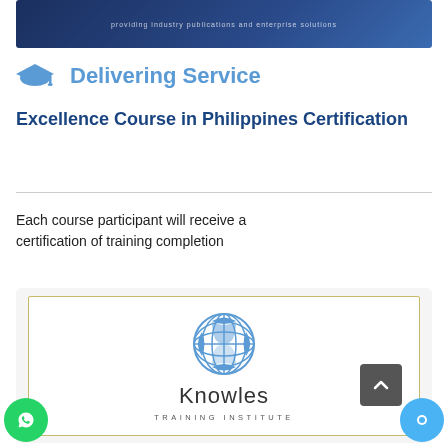[Figure (screenshot): Dark blue banner header with faint text at top of page]
Delivering Service
Excellence Course in Philippines Certification
Each course participant will receive a certification of training completion
[Figure (logo): Knowles Training Institute certificate preview showing globe logo and institute name]